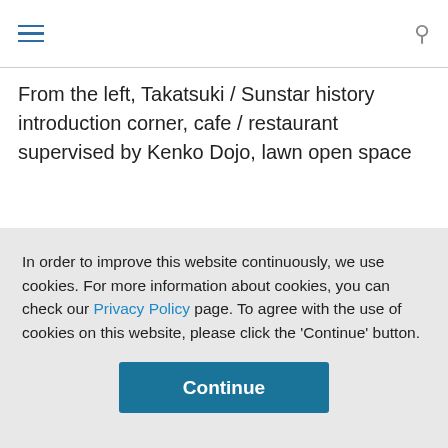From the left, Takatsuki / Sunstar history introduction corner, cafe / restaurant supervised by Kenko Dojo, lawn open space
In order to improve this website continuously, we use cookies. For more information about cookies, you can check our Privacy Policy page. To agree with the use of cookies on this website, please click the 'Continue' button.
Continue